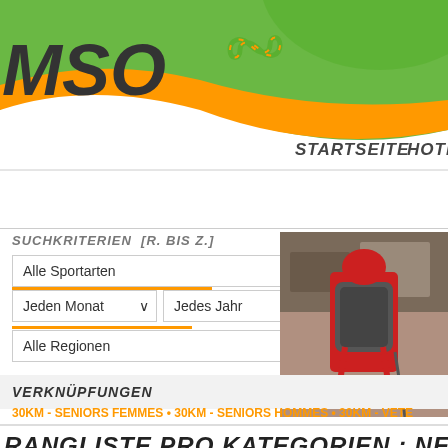[Figure (screenshot): MSO website header with logo, curved green/orange banner, navigation links STARTSEITE and HOTLINE]
MSO
STARTSEITE   HOTLINE
SUCHKRITERIEN [R. BIS Z.]
Alle Sportarten
Jeden Monat   Jedes Jahr
Alle Regionen
Alle Rennen   OK
[Figure (photo): Person with red jacket and backpack viewed from behind, standing near rocky wall]
RANGLISTE PRO KATEGORIEN : NENDAZ TRA
VERKNÜPFUNGEN
30KM - SENIORS FEMMES • 30KM - SENIORS HOMMES • 30KM - VETE